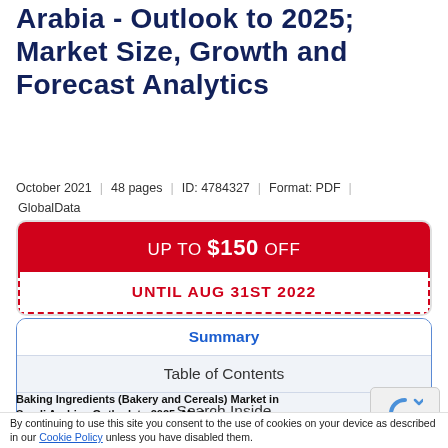Arabia - Outlook to 2025; Market Size, Growth and Forecast Analytics
October 2021 | 48 pages | ID: 4784327 | Format: PDF | GlobalData
UP TO $150 OFF
UNTIL AUG 31ST 2022
Summary
Table of Contents
Search Inside
Baking Ingredients (Bakery and Cereals) Market in Saudi Arabia - Outlook to 2025; Market
By continuing to use this site you consent to the use of cookies on your device as described in our Cookie Policy unless you have disabled them.